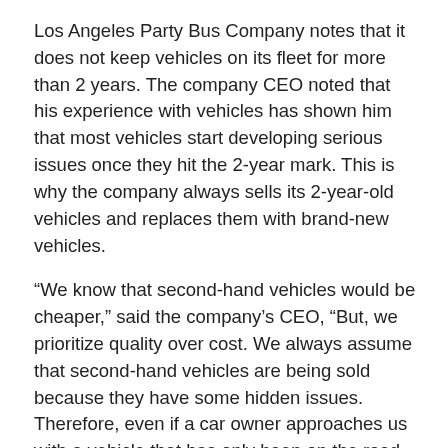Los Angeles Party Bus Company notes that it does not keep vehicles on its fleet for more than 2 years. The company CEO noted that his experience with vehicles has shown him that most vehicles start developing serious issues once they hit the 2-year mark. This is why the company always sells its 2-year-old vehicles and replaces them with brand-new vehicles.
“We know that second-hand vehicles would be cheaper,” said the company’s CEO, “But, we prioritize quality over cost. We always assume that second-hand vehicles are being sold because they have some hidden issues. Therefore, even if a car owner approaches us with a vehicle that has only been on the road for 2 months, we will reject the offer and instead get our vehicle directly from the manufacturer.”
The company’s CEO noted that having properly